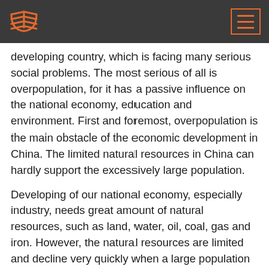developing country, which is facing many serious social problems. The most serious of all is overpopulation, for it has a passive influence on the national economy, education and environment. First and foremost, overpopulation is the main obstacle of the economic development in China. The limited natural resources in China can hardly support the excessively large population.
Developing of our national economy, especially industry, needs great amount of natural resources, such as land, water, oil, coal, gas and iron. However, the natural resources are limited and decline very quickly when a large population exploits them everyday. Take fresh water as an example, in 1990, 58% of Chinese cities (http://www.cass.net.cn/y sjr/y cn sjr 334.